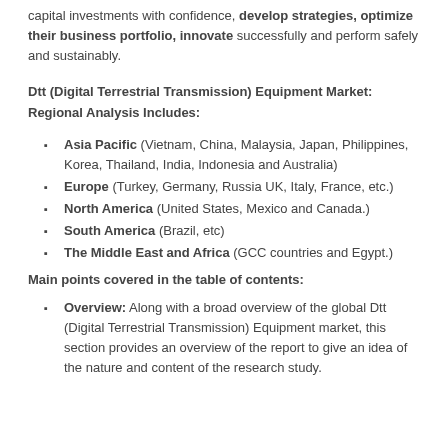capital investments with confidence, develop strategies, optimize their business portfolio, innovate successfully and perform safely and sustainably.
Dtt (Digital Terrestrial Transmission) Equipment Market: Regional Analysis Includes:
Asia Pacific (Vietnam, China, Malaysia, Japan, Philippines, Korea, Thailand, India, Indonesia and Australia)
Europe (Turkey, Germany, Russia UK, Italy, France, etc.)
North America (United States, Mexico and Canada.)
South America (Brazil, etc)
The Middle East and Africa (GCC countries and Egypt.)
Main points covered in the table of contents:
Overview: Along with a broad overview of the global Dtt (Digital Terrestrial Transmission) Equipment market, this section provides an overview of the report to give an idea of the nature and content of the research study.